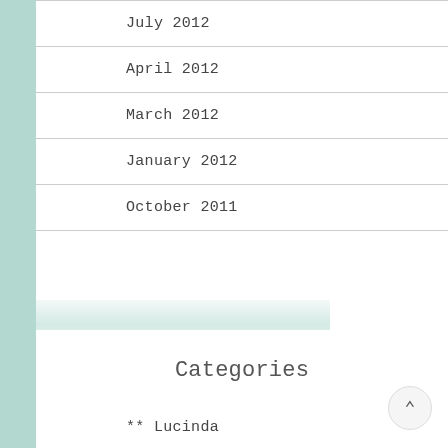July 2012
April 2012
March 2012
January 2012
October 2011
Categories
** Lucinda
– Community Events